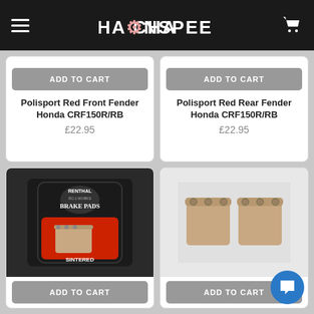CHAINSPEED
ADD TO CART
Polisport Red Front Fender Honda CRF150R/RB
£22.95
ADD TO CART
Polisport Red Rear Fender Honda CRF150R/RB
£22.95
[Figure (photo): Renthal RC-1 Works Brake Pads sintered - product packaging on black carbon fiber background with brake pad visible]
ADD TO CART
[Figure (photo): Two sintered brake pads shown side by side on white/grey background]
ADD TO CART